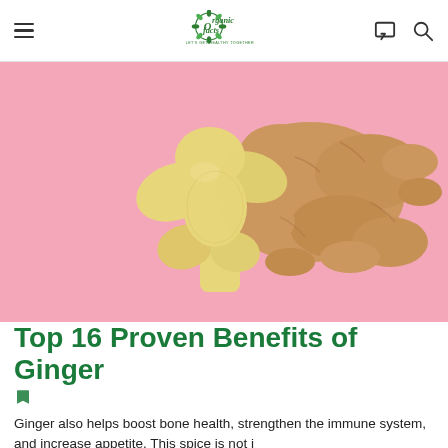Organic Facts – Let's Get Healthy Together
[Figure (photo): Sliced and whole ginger root on a pink background]
Top 16 Proven Benefits of Ginger
Ginger also helps boost bone health, strengthen the immune system, and increase appetite. This spice is not i…